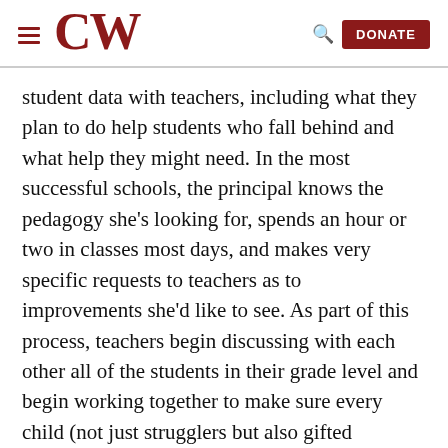CW — DONATE
student data with teachers, including what they plan to do help students who fall behind and what help they might need. In the most successful schools, the principal knows the pedagogy she’s looking for, spends an hour or two in classes most days, and makes very specific requests to teachers as to improvements she’d like to see. As part of this process, teachers begin discussing with each other all of the students in their grade level and begin working together to make sure every child (not just strugglers but also gifted students) reaches his or her potential. Once they see that the focus is on helping students (and not punishing teachers), teachers are comfortable with these